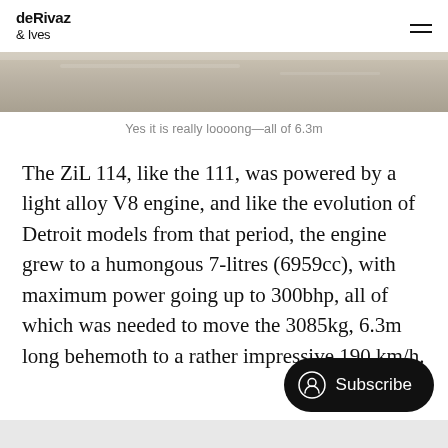deRivaz & Ives
[Figure (photo): Narrow horizontal photo strip of a stone or marble surface, grey-beige tones]
Yes it is really loooong—all of 6.3m
The ZiL 114, like the 111, was powered by a light alloy V8 engine, and like the evolution of Detroit models from that period, the engine grew to a humongous 7-litres (6959cc), with maximum power going up to 300bhp, all of which was needed to move the 3085kg, 6.3m long behemoth to a rather impressive 190 km/h.